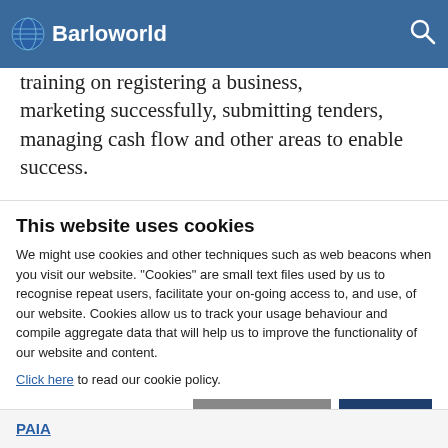Barloworld
Transformation (CAST). CAST will provide basic training on registering a business, marketing successfully, submitting tenders, managing cash flow and other areas to enable success.
“In supporting Enactus, we are able to play an important role in promoting entrepreneurship, encouraging young people to improve lives and strengthen communities, and developing
This website uses cookies
We might use cookies and other techniques such as web beacons when you visit our website. “Cookies” are small text files used by us to recognise repeat users, facilitate your on-going access to, and use, of our website. Cookies allow us to track your usage behaviour and compile aggregate data that will help us to improve the functionality of our website and content.
Click here to read our cookie policy.
Allow selection   Allow all
Necessary   Preferences   Statistics   Show
PAIA